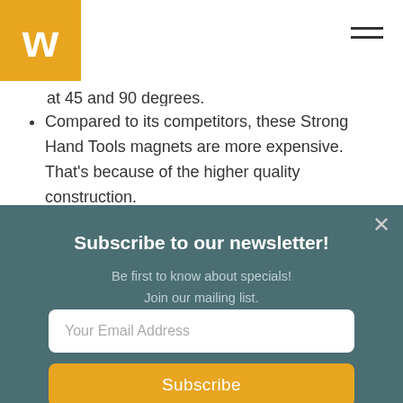W [logo] [hamburger menu]
at 45 and 90 degrees.
Compared to its competitors, these Strong Hand Tools magnets are more expensive. That's because of the higher quality construction.
Subscribe to our newsletter!
Be first to know about specials!
Join our mailing list.
Your Email Address
Subscribe